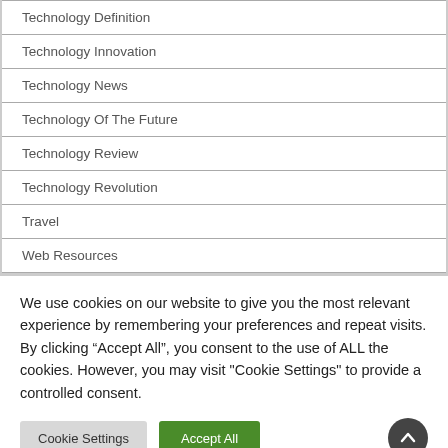Technology Definition
Technology Innovation
Technology News
Technology Of The Future
Technology Review
Technology Revolution
Travel
Web Resources
We use cookies on our website to give you the most relevant experience by remembering your preferences and repeat visits. By clicking “Accept All”, you consent to the use of ALL the cookies. However, you may visit "Cookie Settings" to provide a controlled consent.